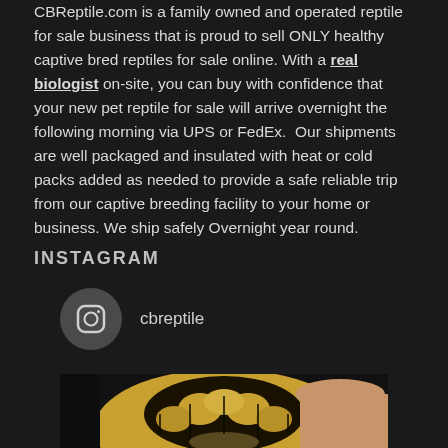CBReptile.com is a family owned and operated reptile for sale business that is proud to sell ONLY healthy captive bred reptiles for sale online. With a real biologist on-site, you can buy with confidence that your new pet reptile for sale will arrive overnight the following morning via UPS or FedEx. Our shipments are well packaged and insulated with heat or cold packs added as needed to provide a safe reliable trip from our captive breeding facility to your home or business. We ship safely Overnight year round.
INSTAGRAM
cbreptile
[Figure (photo): Close-up photo of a reptile (turtle or tortoise) being held, showing scaly skin and shell detail in brown, yellow and black tones]